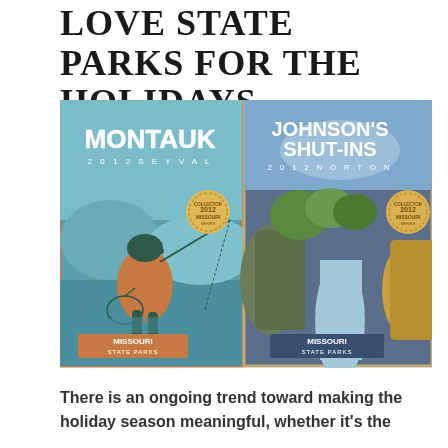LOVE STATE PARKS FOR THE HOLIDAYS
[Figure (illustration): Two Missouri State Parks promotional wine bottle label posters side by side. Left: Montauk 2012 Seyval, showing a fly fisherman silhouette in teal water with orange vest, Missouri collector series seal, orange Missouri State Parks banner. Right: Johnson's Shut-Ins 2012 Norton, showing rocky canyon with stream and greenery, Missouri collector series seal, dark blue Missouri State Parks banner.]
There is an ongoing trend toward making the holiday season meaningful, whether it's the